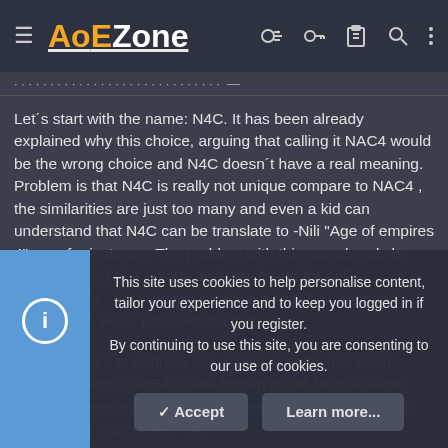AoEZone
Let´s start with the name: N4C. It has been already explained why this choice, arguing that calling it NAC4 would be the wrong choice and N4C doesn´t have a real meaning. Problem is that N4C is really not unique compare to NAC4 , the similarities are just too many and even a kid can understand that N4C can be translate to -Nili "Age of empires 4" cup- for instance. The problem with this can already be seen , instead of a unique and new brand for AoE4 tournaments , here we are recalling a AoE2 tourney and making look like a replacement to it.
Second i want to address why i believe AoE4 has been favored to AoE2. AoE4 is well known to still be in a stage where it needs many patches before it gives a competitive and serious experience. We
This site uses cookies to help personalise content, tailor your experience and to keep you logged in if you register.
By continuing to use this site, you are consenting to our use of cookies.